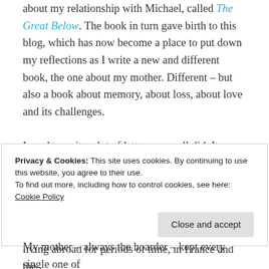about my relationship with Michael, called The Great Below. The book in turn gave birth to this blog, which has now become a place to put down my reflections as I write a new and different book, the one about my mother. Different – but also a book about memory, about loss, about love and its challenges.

I used to write a lot of letters – we all did. It was the main way that friends and family who were separated stayed in communication, before the internet and cheap telephone calls. In particular, I wrote long letters home when, in my late teens and twenties, I was travelling around the world or living abroad for periods of time, in France and the
Privacy & Cookies: This site uses cookies. By continuing to use this website, you agree to their use.
To find out more, including how to control cookies, see here: Cookie Policy

Close and accept
My mother – always the hoarder – kept every single one of